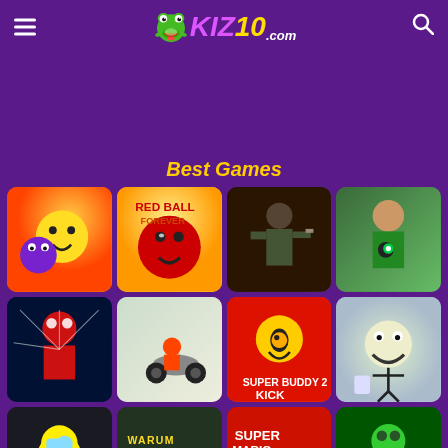Kiz10.com - Best Games
Best Games
[Figure (screenshot): Grid of game thumbnails: row 1: smiley ball game, Red Ball Forever, shooter game, Ben 10; row 2: Spider-Man, motocross game, Super Buddy Kick 2, troll face stickman; row 3 (partial): Among Us style, car game, Super Mario, green superhero game]